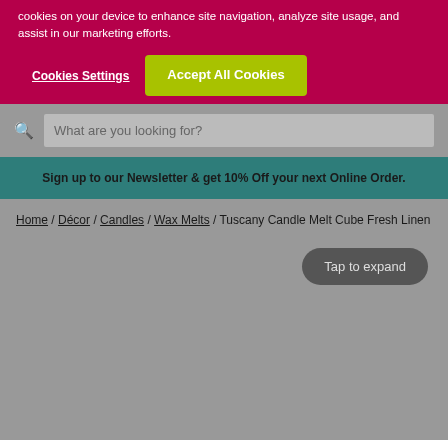cookies on your device to enhance site navigation, analyze site usage, and assist in our marketing efforts.
Cookies Settings
Accept All Cookies
What are you looking for?
Sign up to our Newsletter & get 10% Off your next Online Order.
Home / Décor / Candles / Wax Melts / Tuscany Candle Melt Cube Fresh Linen
Tap to expand